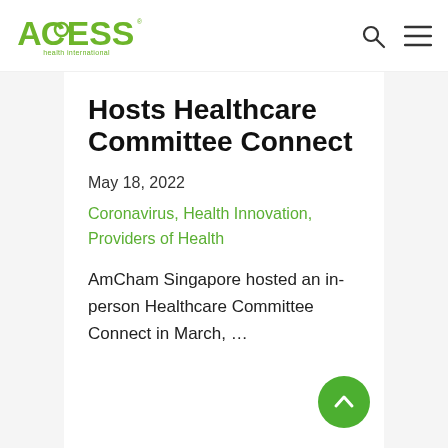[Figure (logo): ACCESS health international logo in green]
Hosts Healthcare Committee Connect
May 18, 2022
Coronavirus, Health Innovation, Providers of Health
AmCham Singapore hosted an in-person Healthcare Committee Connect in March, …